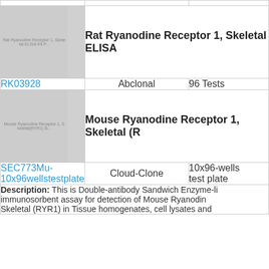[Figure (photo): Gray placeholder image for Rat Ryanodine Receptor 1, Skeletal ELISA Kit product]
Rat Ryanodine Receptor 1, Skeletal ELISA
| Catalog | Supplier | Size |
| --- | --- | --- |
| RK03928 | Abclonal | 96 Tests |
[Figure (photo): Gray placeholder image for Mouse Ryanodine Receptor 1, Skeletal (RYR1) product]
Mouse Ryanodine Receptor 1, Skeletal (R
| Catalog | Supplier | Size |
| --- | --- | --- |
| SEC773Mu-10x96wellstestplate | Cloud-Clone | 10x96-wells test plate |
Description: This is Double-antibody Sandwich Enzyme-linked immunosorbent assay for detection of Mouse Ryanodine Receptor 1, Skeletal (RYR1) in Tissue homogenates, cell lysates and